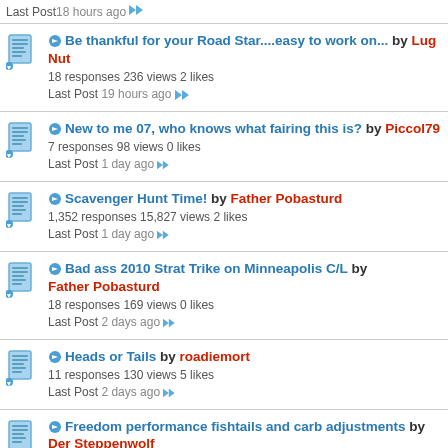Last Post 18 hours ago
Be thankful for your Road Star....easy to work on... by Lug Nut
18 responses 236 views 2 likes
Last Post 19 hours ago
New to me 07, who knows what fairing this is? by Piccol79
7 responses 98 views 0 likes
Last Post 1 day ago
Scavenger Hunt Time! by Father Pobasturd
1,352 responses 15,827 views 2 likes
Last Post 1 day ago
Bad ass 2010 Strat Trike on Minneapolis C/L by Father Pobasturd
18 responses 169 views 0 likes
Last Post 2 days ago
Heads or Tails by roadiemort
11 responses 130 views 5 likes
Last Post 2 days ago
Freedom performance fishtails and carb adjustments by Der Steppenwolf
11 responses 167 views 0 likes